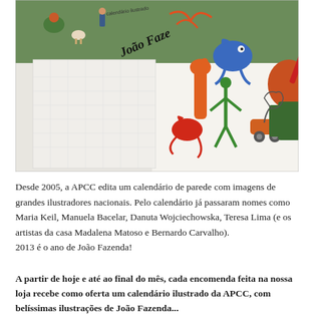[Figure (photo): Close-up photograph of a illustrated wall calendar. The calendar shows children's colorful drawings of animals and figures. The title 'João Fazenda' and 'calendário ilustrado' are visible on the cover. The calendar pages show a grid layout with small illustrations of people and animals.]
Desde 2005, a APCC edita um calendário de parede com imagens de grandes ilustradores nacionais. Pelo calendário já passaram nomes como Maria Keil, Manuela Bacelar, Danuta Wojciechowska, Teresa Lima (e os artistas da casa Madalena Matoso e Bernardo Carvalho).
2013 é o ano de João Fazenda!
A partir de hoje e até ao final do mês, cada encomenda feita na nossa loja recebe como oferta um calendário ilustrado da APCC, com belíssimas ilustrações de João Fazenda...